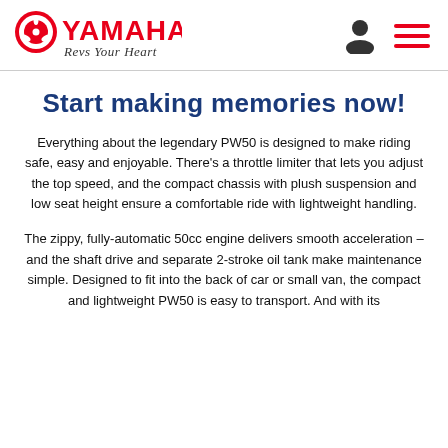YAMAHA Revs Your Heart
Start making memories now!
Everything about the legendary PW50 is designed to make riding safe, easy and enjoyable. There’s a throttle limiter that lets you adjust the top speed, and the compact chassis with plush suspension and low seat height ensure a comfortable ride with lightweight handling.
The zippy, fully-automatic 50cc engine delivers smooth acceleration – and the shaft drive and separate 2-stroke oil tank make maintenance simple. Designed to fit into the back of car or small van, the compact and lightweight PW50 is easy to transport. And with its